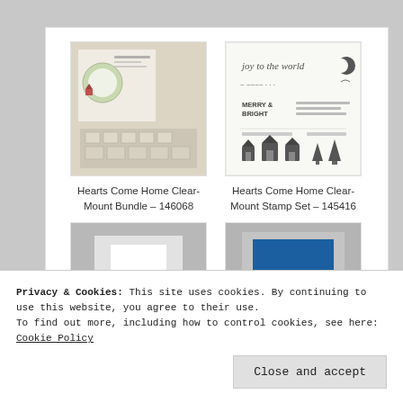[Figure (photo): Hearts Come Home Clear-Mount Bundle product image showing stamp set and dies]
Hearts Come Home Clear-Mount Bundle – 146068
[Figure (photo): Hearts Come Home Clear-Mount Stamp Set product image showing stamp designs]
Hearts Come Home Clear-Mount Stamp Set – 145416
[Figure (photo): Gray mount block product image with white center]
[Figure (photo): Gray mount block product image with blue center square]
Privacy & Cookies: This site uses cookies. By continuing to use this website, you agree to their use.
To find out more, including how to control cookies, see here: Cookie Policy
Close and accept